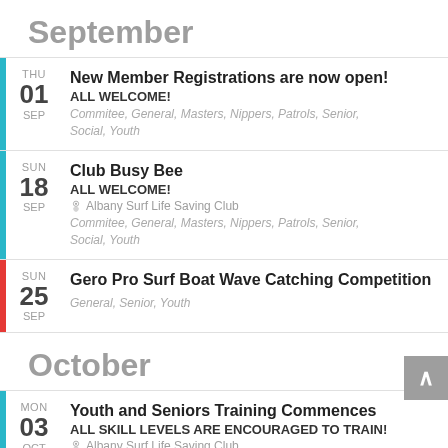September
THU 01 SEP — New Member Registrations are now open! ALL WELCOME! Commitee, General, Masters, Nippers, Patrols, Senior, Social, Youth
SUN 18 SEP — Club Busy Bee ALL WELCOME! Albany Surf Life Saving Club Commitee, General, Masters, Nippers, Patrols, Senior, Social, Youth
SUN 25 SEP — Gero Pro Surf Boat Wave Catching Competition General, Senior, Youth
October
MON 03 OCT — Youth and Seniors Training Commences ALL SKILL LEVELS ARE ENCOURAGED TO TRAIN! Albany Surf Life Saving Club General, Masters, Senior, Youth